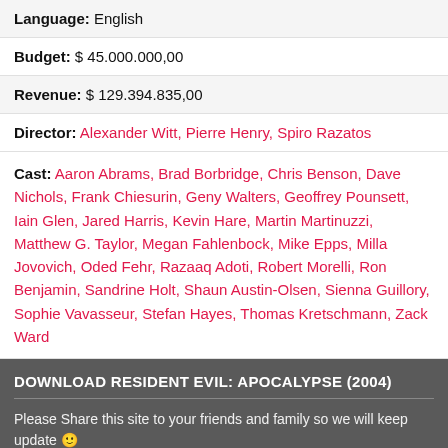Language: English
Budget: $ 45.000.000,00
Revenue: $ 129.394.835,00
Director: Alexander Witt, Pierre Henry, Spiro Razatos
Cast: Aaron Abrams, Brad Borbridge, Chris Benson, Dave Nichols, Frank Chiesurin, Geny Walters, Geoffrey Pounsett, Iain Glen, Jared Harris, Kevin Hare, Martin Martinuzzi, Matthew G. Taylor, Megan Fahlenbock, Mike Epps, Milla Jovovich, Oded Fehr, Razaaq Adoti, Robert Morelli, Ron Benjamin, Sandrine Holt, Shaun Austin-Olsen, Sienna Guillory, Sophie Vavasseur, Stefan Hayes, Thomas Kretschmann, Zack Ward
DOWNLOAD RESIDENT EVIL: APOCALYPSE (2004)
Please Share this site to your friends and family so we will keep update 🙂
All files or contents hosted on third party websites. PaHe do not accept responsibility for contents hosted on third party websites. We just index those links which are already available in